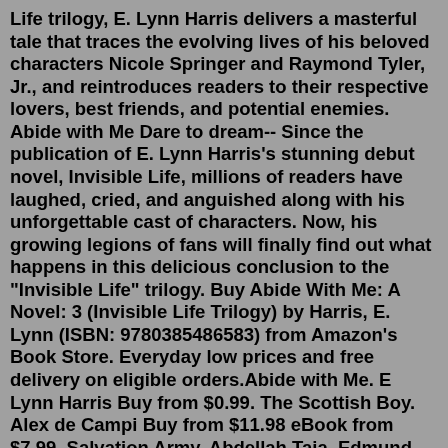Life trilogy, E. Lynn Harris delivers a masterful tale that traces the evolving lives of his beloved characters Nicole Springer and Raymond Tyler, Jr., and reintroduces readers to their respective lovers, best friends, and potential enemies. Abide with Me Dare to dream-- Since the publication of E. Lynn Harris's stunning debut novel, Invisible Life, millions of readers have laughed, cried, and anguished along with his unforgettable cast of characters. Now, his growing legions of fans will finally find out what happens in this delicious conclusion to the "Invisible Life" trilogy. Buy Abide With Me: A Novel: 3 (Invisible Life Trilogy) by Harris, E. Lynn (ISBN: 9780385486583) from Amazon's Book Store. Everyday low prices and free delivery on eligible orders.Abide with Me. E Lynn Harris Buy from $0.99. The Scottish Boy. Alex de Campi Buy from $11.98 eBook from $7.99. Salvation Army. Abdellah Taia, Edmund White (Introduction by) Buy from $6.67. The Quirk. Gordon Merrick Buy from $4.41 eBook from $5.99. A Place at the Table. Swan...